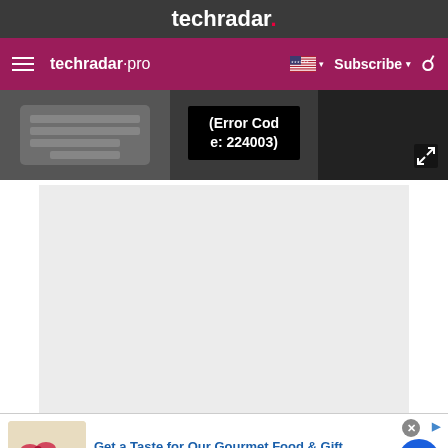techradar.
techradar pro  Subscribe
[Figure (screenshot): Video player showing error code 224003 overlaid on a keyboard/laptop background image]
[Figure (other): Gray placeholder content area]
[Figure (other): Advertisement banner: Get a Taste for Our Gourmet Food & Gift - Chocolate Gifts - Fruit Baskets - Baked Goods - www.1800flowers.com]